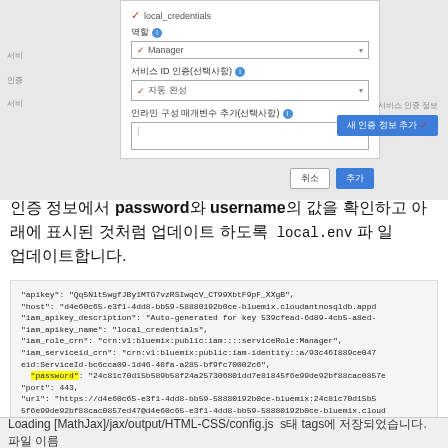[Figure (screenshot): A UI dialog box showing credential configuration options including fields for local_credentials, 역할 (role) with Manager selected, 서비스 ID 인증(선택사항) with 자동 완성 dropdown, and 인라인 구성 매개변수 추가(선택사항) text area. Cancel (취소) and Add (추가) buttons at the bottom right. A separate details button appears on the right side.]
인증 정보에서 password와 username의 값을 확인하고 아래에 표시된 것처럼 로컬 local.env 파일을 업데이트합니다.
[Figure (screenshot): A code block showing JSON credentials with fields: apikey, host, iam_apikey_description, iam_apikey_name (local_credentials), iam_role_crn (Manager), iam_serviceid_crn, password (highlighted in yellow), port: 443, url, username (highlighted in yellow).]
Loading [MathJax]/jax/output/HTML-CSS/config.js  s태 tags에 저장되었습니다. 파일 이름